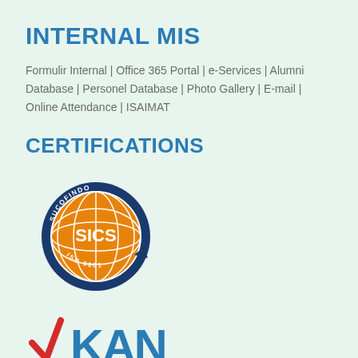INTERNAL MIS
Formulir Internal | Office 365 Portal | e-Services | Alumni Database | Personel Database | Photo Gallery | E-mail | Online Attendance | ISAIMAT
CERTIFICATIONS
[Figure (logo): SUCOFINDO SICS ISO 9001 certification logo — globe graphic in orange and blue with 'SUCOFINDO' text on top arc, 'SICS' in center, 'ISO 9001' on bottom arc]
[Figure (logo): KAN (Komite Akreditasi Nasional) logo with red and blue checkmark and blue KAN text, subtitle 'Komite Akreditasi Nasional', smaller text 'Laboratorium Penguji LP-211-IDN']